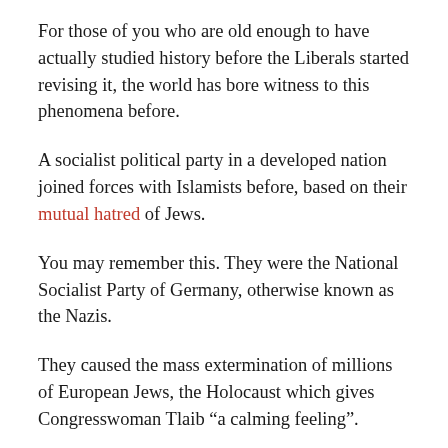For those of you who are old enough to have actually studied history before the Liberals started revising it, the world has bore witness to this phenomena before.
A socialist political party in a developed nation joined forces with Islamists before, based on their mutual hatred of Jews.
You may remember this. They were the National Socialist Party of Germany, otherwise known as the Nazis.
They caused the mass extermination of millions of European Jews, the Holocaust which gives Congresswoman Tlaib “a calming feeling”.